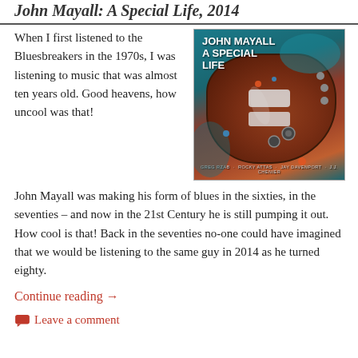John Mayall: A Special Life, 2014
[Figure (photo): Album cover of John Mayall - A Special Life, showing a decorated electric guitar on a teal background with band member names at the bottom.]
When I first listened to the Bluesbreakers in the 1970s, I was listening to music that was almost ten years old. Good heavens, how uncool was that!
John Mayall was making his form of blues in the sixties, in the seventies – and now in the 21st Century he is still pumping it out. How cool is that! Back in the seventies no-one could have imagined that we would be listening to the same guy in 2014 as he turned eighty.
Continue reading →
Leave a comment